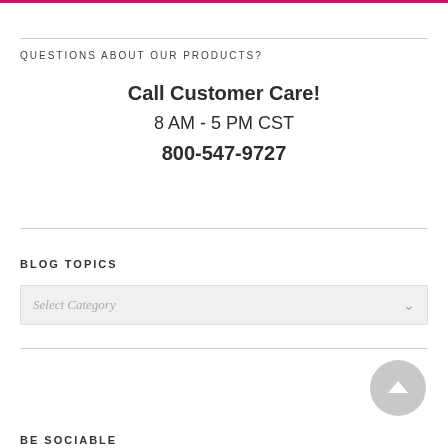QUESTIONS ABOUT OUR PRODUCTS?
Call Customer Care!
8 AM - 5 PM CST
800-547-9727
BLOG TOPICS
Select Category
BE SOCIABLE